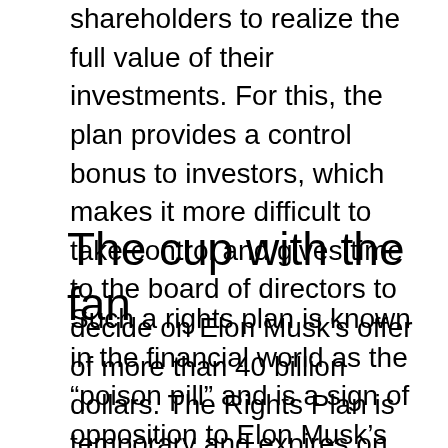shareholders to realize the full value of their investments. For this, the plan provides a control bonus to investors, which makes it more difficult to take control and gives time to the board of directors to decide on Elon Musk's offer of more than 40 billion dollars. The Rights Plan is temporary and expires on April 14, 2023.
The cup with the fan
Such a rights plan is known in the financial world as the “poison pill” and is a sign of opposition to Elon Musk’s hostile takeover. It becomes effective when Musk — or any other shareholder — acquires more than 15% of the company’s common stock in a transaction not authorized by the board